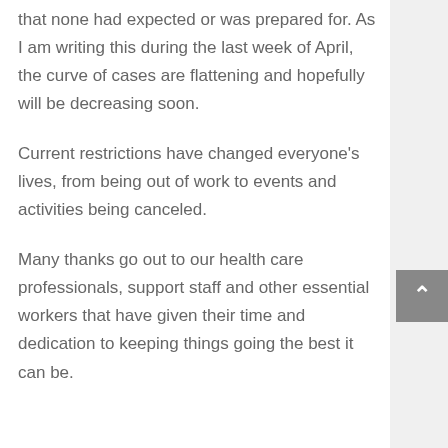that none had expected or was prepared for. As I am writing this during the last week of April, the curve of cases are flattening and hopefully will be decreasing soon.
Current restrictions have changed everyone's lives, from being out of work to events and activities being canceled.
Many thanks go out to our health care professionals, support staff and other essential workers that have given their time and dedication to keeping things going the best it can be.